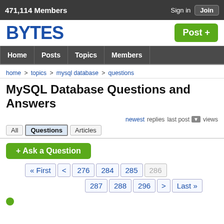471,114 Members   Sign in   Join
BYTES
Post +
Home | Posts | Topics | Members
home > topics > mysql database > questions
MySQL Database Questions and Answers
newest  replies  last post ▼  views
All  Questions  Articles
+ Ask a Question
« First  <  276  284  285  286  287  288  296  >  Last »